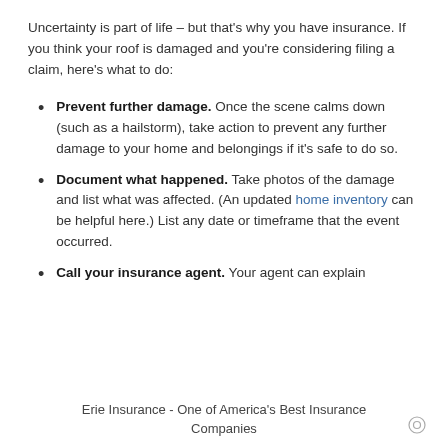Uncertainty is part of life – but that's why you have insurance. If you think your roof is damaged and you're considering filing a claim, here's what to do:
Prevent further damage. Once the scene calms down (such as a hailstorm), take action to prevent any further damage to your home and belongings if it's safe to do so.
Document what happened. Take photos of the damage and list what was affected. (An updated home inventory can be helpful here.) List any date or timeframe that the event occurred.
Call your insurance agent. Your agent can explain
Erie Insurance - One of America's Best Insurance Companies